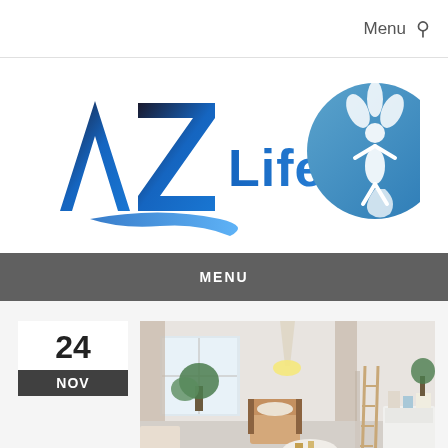Menu
[Figure (logo): AZ Life Wave logo with stylized AZ text in dark/blue gradient and circular emblem with leaves and figure]
MENU
24 NOV
[Figure (photo): Bright modern living room interior with pendant light, plants, chair, sofa, and white furniture with decorative items]